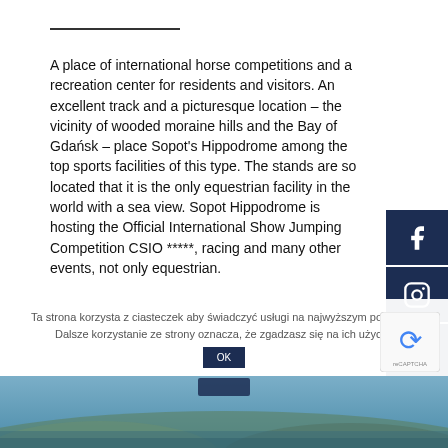A place of international horse competitions and a recreation center for residents and visitors. An excellent track and a picturesque location – the vicinity of wooded moraine hills and the Bay of Gdańsk – place Sopot's Hippodrome among the top sports facilities of this type. The stands are so located that it is the only equestrian facility in the world with a sea view. Sopot Hippodrome is hosting the Official International Show Jumping Competition CSIO *****, racing and many other events, not only equestrian.
Ta strona korzysta z ciasteczek aby świadczyć usługi na najwyższym poziomie. Dalsze korzystanie ze strony oznacza, że zgadzasz się na ich użycie.
[Figure (photo): Aerial photo of coastal city (Sopot) at the bottom of the page]